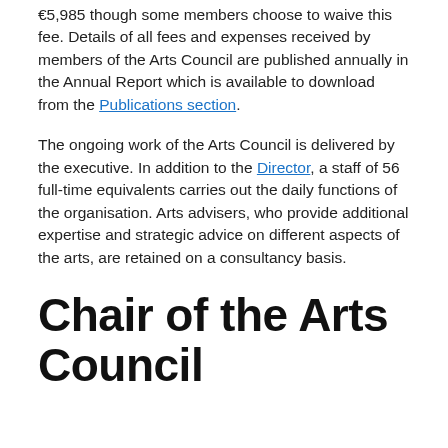€5,985 though some members choose to waive this fee. Details of all fees and expenses received by members of the Arts Council are published annually in the Annual Report which is available to download from the Publications section.
The ongoing work of the Arts Council is delivered by the executive. In addition to the Director, a staff of 56 full-time equivalents carries out the daily functions of the organisation. Arts advisers, who provide additional expertise and strategic advice on different aspects of the arts, are retained on a consultancy basis.
Chair of the Arts Council